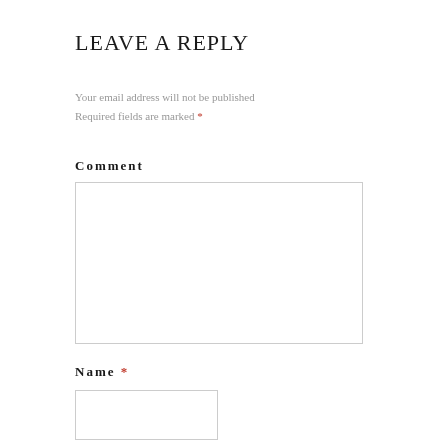LEAVE A REPLY
Your email address will not be published Required fields are marked *
Comment
Name *